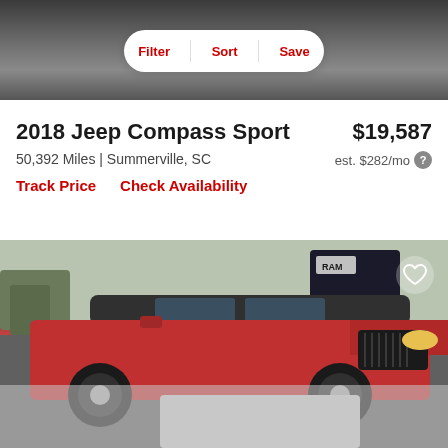[Figure (photo): Top portion of a dark SUV vehicle photo with a filter/sort/save toolbar overlay]
2018 Jeep Compass Sport
$19,587
50,392 Miles | Summerville, SC
est. $282/mo
Track Price    Check Availability
[Figure (photo): Red Jeep Compass parked at a dealership lot, RAM signage visible in background, white heart/save icon in upper right corner]